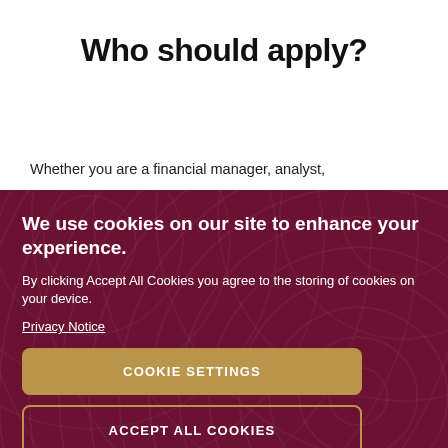Who should apply?
Whether you are a financial manager, analyst,
We use cookies on our site to enhance your experience.
By clicking Accept All Cookies you agree to the storing of cookies on your device.
Privacy Notice
COOKIE SETTINGS
ACCEPT ALL COOKIES